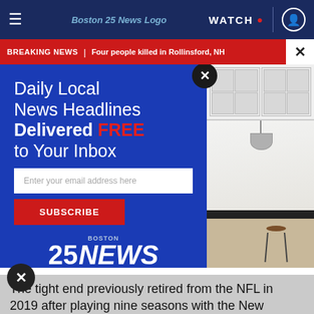≡  Boston 25 News Logo  WATCH 🔴  👤
BREAKING NEWS | Four people killed in Rollinsford, NH ×
[Figure (screenshot): Email newsletter signup modal overlay on Boston 25 News website. Blue background with white and red text: 'Daily Local News Headlines Delivered FREE to Your Inbox'. Email input field, Subscribe button, and Boston 25 News logo.]
[Figure (photo): Kitchen interior photo showing white cabinets, glass-front upper cabinets, dark countertop, pendant lamp, and a bar stool with wooden seat on light wood floor.]
The tight end previously retired from the NFL in 2019 after playing nine seasons with the New